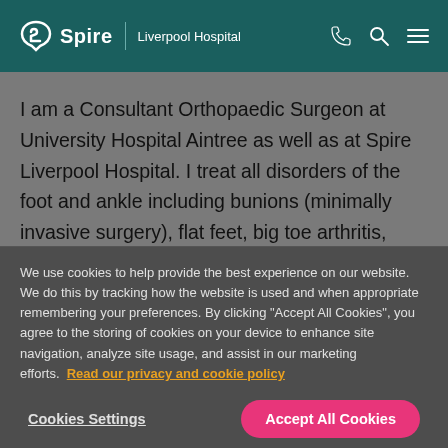Spire | Liverpool Hospital
I am a Consultant Orthopaedic Surgeon at University Hospital Aintree as well as at Spire Liverpool Hospital. I treat all disorders of the foot and ankle including bunions (minimally invasive surgery), flat feet, big toe arthritis, ankle replacements, ankle ligament surgery and arthritis. I have a
We use cookies to help provide the best experience on our website. We do this by tracking how the website is used and when appropriate remembering your preferences. By clicking "Accept All Cookies", you agree to the storing of cookies on your device to enhance site navigation, analyze site usage, and assist in our marketing efforts. Read our privacy and cookie policy
Cookies Settings
Accept All Cookies